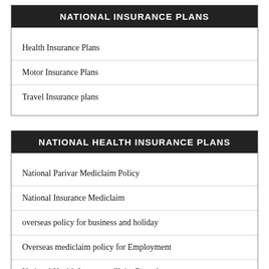NATIONAL INSURANCE PLANS
Health Insurance Plans
Motor Insurance Plans
Travel Insurance plans
NATIONAL HEALTH INSURANCE PLANS
National Parivar Mediclaim Policy
National Insurance Mediclaim
overseas policy for business and holiday
Overseas mediclaim policy for Employment
National Health Insurance Claim Procedure